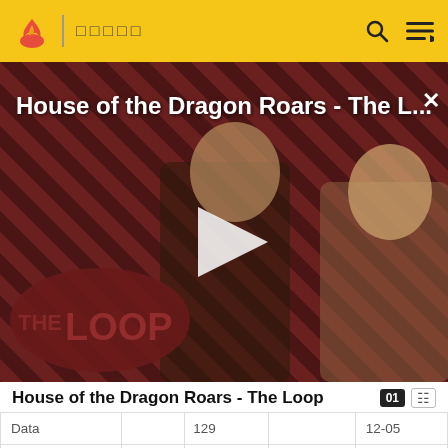□□□□□
[Figure (screenshot): Video thumbnail showing House of the Dragon Roars - The Loop with two characters on a diagonal striped background, THE LOOP logo visible, play button overlay]
House of the Dragon Roars - The Loop
| Data |  | 129 |  | 12-05 |
| The Outrageous Okona | 2x04 | 40272-130 | 42402.7 | 1988-12-12 |